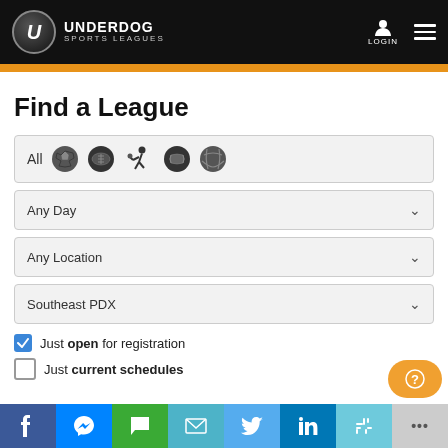Underdog Sports Leagues - Login
Find a League
[Figure (infographic): Sport filter row with All label and sport icons: soccer/bocce ball, football, tennis/running figure, baseball, volleyball]
Any Day (dropdown)
Any Location (dropdown)
Southeast PDX (dropdown)
Just open for registration (checked)
Just current schedules (unchecked)
Facebook, Messenger, SMS, Email, Twitter, LinkedIn, Slack, More